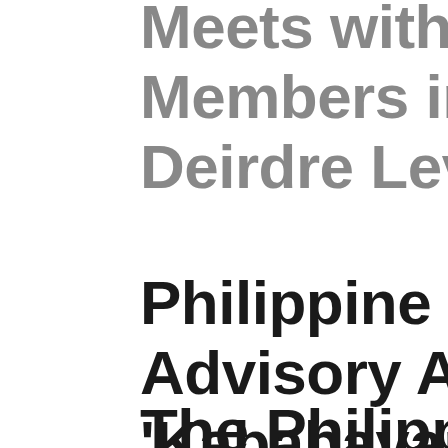Meets with Filipino Community Members in 'L... Deirdre Levy R...
Philippine Con... Advisory Amid... 'Kababayan' in...
The Philippine...